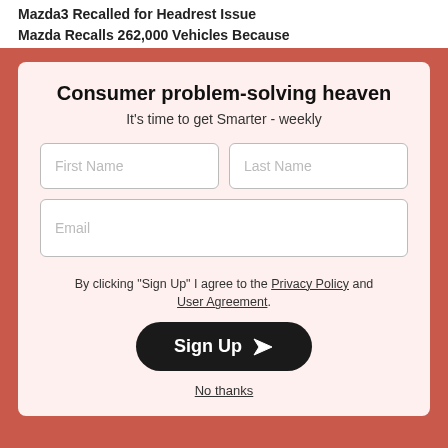Mazda3 Recalled for Headrest Issue
Mazda Recalls 262,000 Vehicles Because
Consumer problem-solving heaven
It's time to get Smarter - weekly
First Name
Last Name
Email
By clicking "Sign Up" I agree to the Privacy Policy and User Agreement.
Sign Up
No thanks